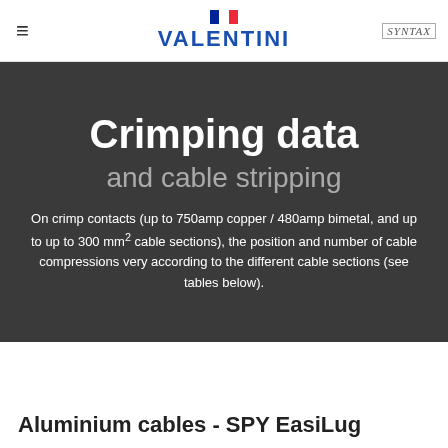VALENTINI | SYNTAX
Crimping data
and cable stripping
On crimp contacts (up to 750amp copper / 480amp bimetal, and up to up to 300 mm² cable sections), the position and number of cable compressions very according to the different cable sections (see tables below).
Aluminium cables - SPY EasiLug